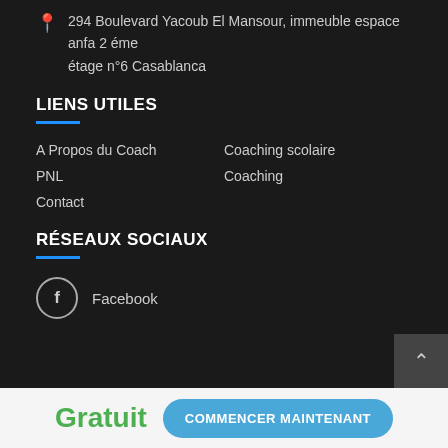294 Boulevard Yacoub El Mansour, immeuble espace anfa 2 éme étage n°6 Casablanca
LIENS UTILES
A Propos du Coach
Coaching scolaire
PNL
Coaching
Contact
RÉSEAUX SOCIAUX
Facebook
Gratuit
COMMENCER MAINTENANT